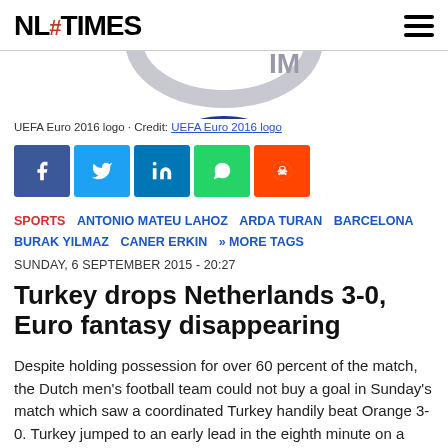NL#TIMES
[Figure (photo): Partial UEFA Euro 2016 logo cropped at top and bottom, showing the arc and star elements of the logo on a white background]
UEFA Euro 2016 logo · Credit: UEFA Euro 2016 logo
[Figure (infographic): Social media sharing buttons: Facebook (blue), Twitter (light blue), LinkedIn (dark blue), WhatsApp (green), Reddit (orange)]
SPORTS   ANTONIO MATEU LAHOZ   ARDA TURAN   BARCELONA   BURAK YILMAZ   CANER ERKIN   » MORE TAGS
SUNDAY, 6 SEPTEMBER 2015 - 20:27
Turkey drops Netherlands 3-0, Euro fantasy disappearing
Despite holding possession for over 60 percent of the match, the Dutch men's football team could not buy a goal in Sunday's match which saw a coordinated Turkey handily beat Orange 3-0. Turkey jumped to an early lead in the eighth minute on a goal by Oguzhan Ozyakup en route to